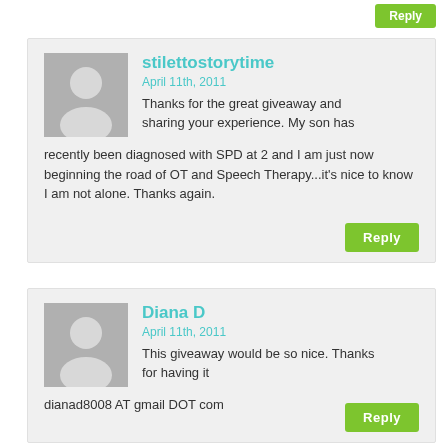stilettostorytime
April 11th, 2011
Thanks for the great giveaway and sharing your experience. My son has recently been diagnosed with SPD at 2 and I am just now beginning the road of OT and Speech Therapy...it's nice to know I am not alone. Thanks again.
Diana D
April 11th, 2011
This giveaway would be so nice. Thanks for having it

dianad8008 AT gmail DOT com